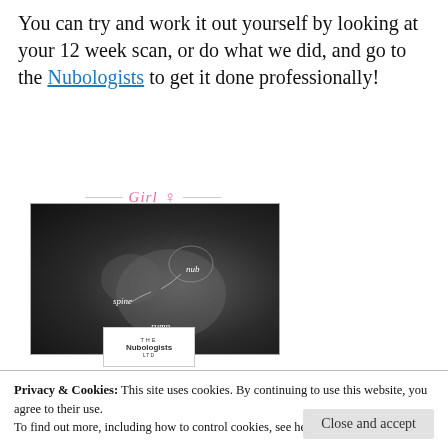You can try and work it out yourself by looking at your 12 week scan, or do what we did, and go to the Nubologists to get it done professionally!
[Figure (photo): Ultrasound scan image labeled 'Girl' with female symbol, annotated with labels 'nub', 'spine', 'rump', and The Nubologists Ltd logo at the bottom. A report document is shown to the right.]
Privacy & Cookies: This site uses cookies. By continuing to use this website, you agree to their use.
To find out more, including how to control cookies, see here: Cookie Policy